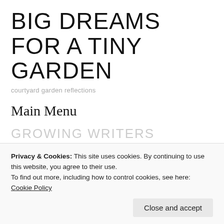BIG DREAMS FOR A TINY GARDEN
courtyard garden reflections
Main Menu
GROWING WRITERS
There's nothing to writing. All you do is sit down at a typewriter and open a vein.
Privacy & Cookies: This site uses cookies. By continuing to use this website, you agree to their use. To find out more, including how to control cookies, see here: Cookie Policy
Close and accept
Look under its wing: